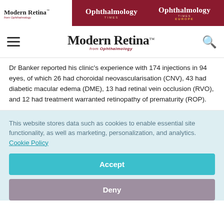Modern Retina from Ophthalmology | Ophthalmology Times | Ophthalmology Times Europe
Modern Retina from Ophthalmology
Dr Banker reported his clinic's experience with 174 injections in 94 eyes, of which 26 had choroidal neovascularisation (CNV), 43 had diabetic macular edema (DME), 13 had retinal vein occlusion (RVO), and 12 had treatment warranted retinopathy of prematurity (ROP).
This website stores data such as cookies to enable essential site functionality, as well as marketing, personalization, and analytics. Cookie Policy
Accept
Deny